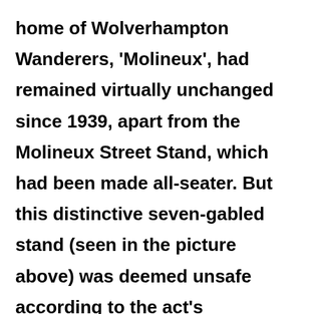home of Wolverhampton Wanderers, 'Molineux', had remained virtually unchanged since 1939, apart from the Molineux Street Stand, which had been made all-seater. But this distinctive seven-gabled stand (seen in the picture above) was deemed unsafe according to the act's regulations and therefore had to be replaced. Architects were